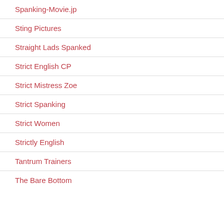Spanking-Movie.jp
Sting Pictures
Straight Lads Spanked
Strict English CP
Strict Mistress Zoe
Strict Spanking
Strict Women
Strictly English
Tantrum Trainers
The Bare Bottom